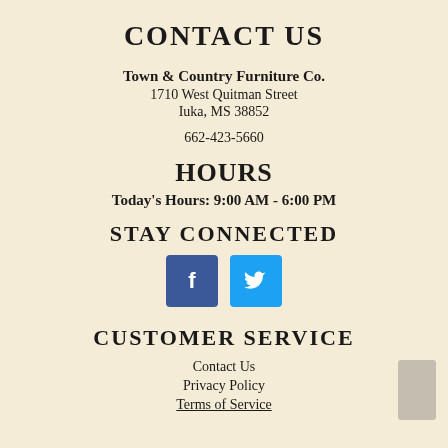CONTACT US
Town & Country Furniture Co.
1710 West Quitman Street
Iuka, MS 38852
662-423-5660
HOURS
Today's Hours: 9:00 AM - 6:00 PM
STAY CONNECTED
[Figure (other): Facebook and Twitter social media icon buttons]
CUSTOMER SERVICE
Contact Us
Privacy Policy
Terms of Service